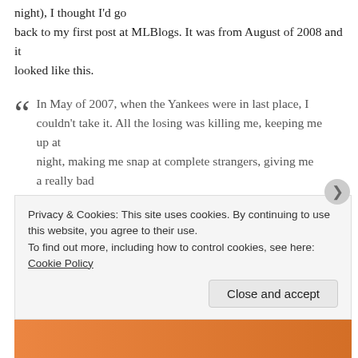night), I thought I'd go back to my first post at MLBlogs. It was from August of 2008 and it looked like this.
In May of 2007, when the Yankees were in last place, I couldn't take it. All the losing was killing me, keeping me up at night, making me snap at complete strangers, giving me a really bad headache. One night, after a humiliating interleague loss against the Mets, I stormed into my office and wrote an article about divorcing the Yankees. The grounds? Mental cruelty. I didn't have a
Privacy & Cookies: This site uses cookies. By continuing to use this website, you agree to their use.
To find out more, including how to control cookies, see here: Cookie Policy
Close and accept